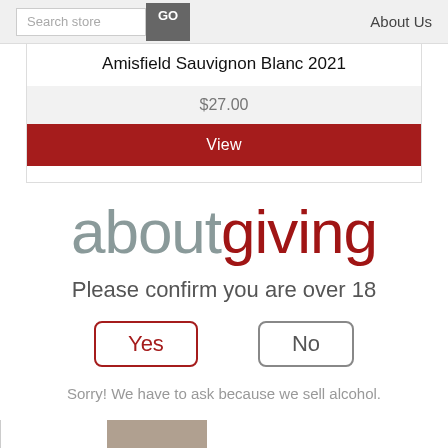Search store  GO  About Us
Amisfield Sauvignon Blanc 2021
$27.00
View
[Figure (logo): aboutgiving logo with 'about' in grey and 'giving' in dark red]
Please confirm you are over 18
Yes
No
Sorry! We have to ask because we sell alcohol.